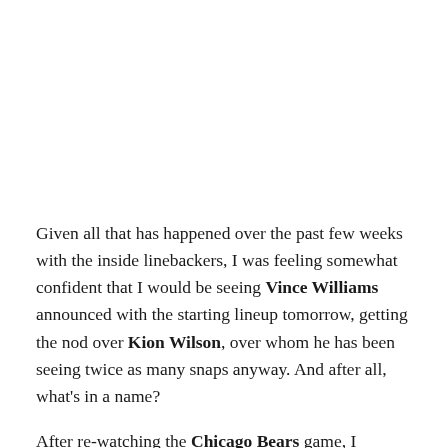Given all that has happened over the past few weeks with the inside linebackers, I was feeling somewhat confident that I would be seeing Vince Williams announced with the starting lineup tomorrow, getting the nod over Kion Wilson, over whom he has been seeing twice as many snaps anyway. And after all, what's in a name?

After re-watching the Chicago Bears game, I continue to feel reassured that the reported first-team reps that Williams received this week was no mere coincidence. While he did not